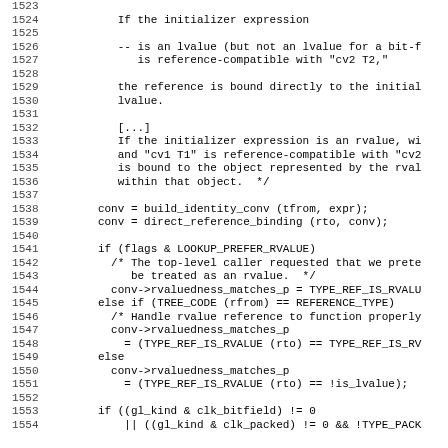Source code listing, lines 1523-1554, showing C++ reference binding logic with comments and code for rvalue/lvalue handling and gl_kind bitfield checks.